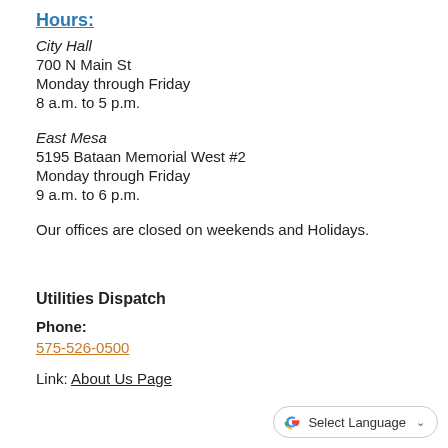Hours:
City Hall
700 N Main St
Monday through Friday
8 a.m. to 5 p.m.
East Mesa
5195 Bataan Memorial West #2
Monday through Friday
9 a.m. to 6 p.m.
Our offices are closed on weekends and Holidays.
Utilities Dispatch
Phone:
575-526-0500
Link: About Us Page
[Figure (other): Google Translate widget button with G logo and 'Select Language' dropdown]